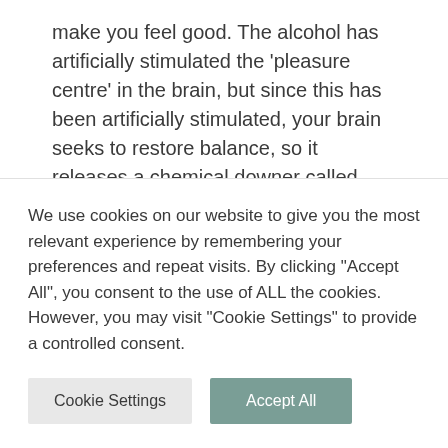make you feel good. The alcohol has artificially stimulated the 'pleasure centre' in the brain, but since this has been artificially stimulated, your brain seeks to restore balance, so it releases a chemical downer called dynorphin and as the effects of the first glass wears off, your sense of wellbeing drops below what it was before you had your first drink. So what do you do? Reach for another. And the cycle starts
We use cookies on our website to give you the most relevant experience by remembering your preferences and repeat visits. By clicking "Accept All", you consent to the use of ALL the cookies. However, you may visit "Cookie Settings" to provide a controlled consent.